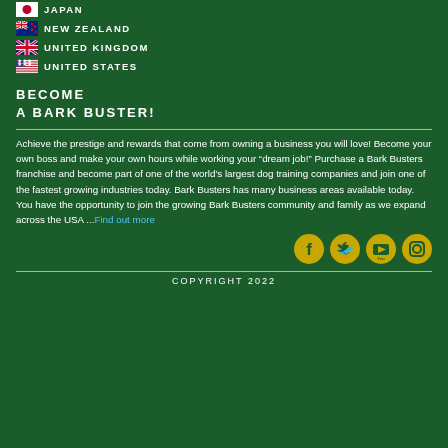JAPAN
NEW ZEALAND
UNITED KINGDOM
UNITED STATES
BECOME
A BARK BUSTER!
Achieve the prestige and rewards that come from owning a business you will love! Become your own boss and make your own hours while working your “dream job!” Purchase a Bark Busters franchise and become part of one of the world’s largest dog training companies and join one of the fastest growing industries today. Bark Busters has many business areas available today. You have the opportunity to join the growing Bark Busters community and family as we expand across the USA ...Find out more
[Figure (infographic): Social media icons: Facebook, Twitter, YouTube, Instagram in yellow/gold color]
COPYRIGHT 2022